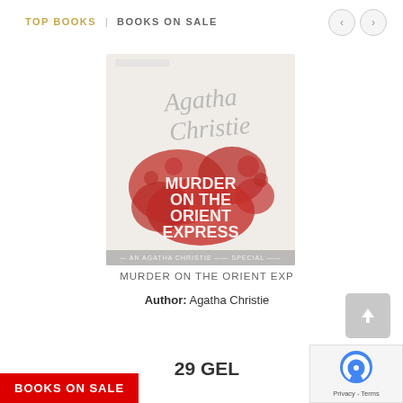TOP BOOKS | BOOKS ON SALE
[Figure (photo): Book cover of 'Murder on the Orient Express' by Agatha Christie — white cover with cursive 'Agatha Christie' author name in grey at top, bold red block letters reading 'MURDER ON THE ORIENT EXPRESS' over abstract red bubble shapes, and a decorative banner at the bottom.]
MURDER ON THE ORIENT EXP
Author: Agatha Christie
29 GEL
BOOKS ON SALE